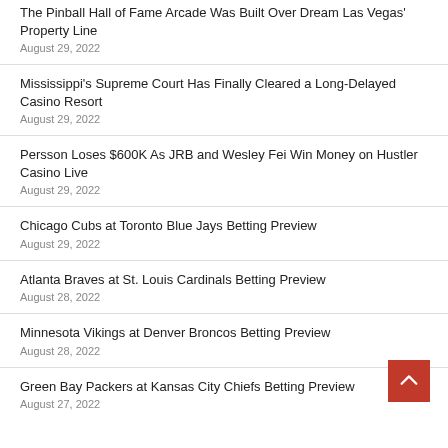The Pinball Hall of Fame Arcade Was Built Over Dream Las Vegas' Property Line
August 29, 2022
Mississippi's Supreme Court Has Finally Cleared a Long-Delayed Casino Resort
August 29, 2022
Persson Loses $600K As JRB and Wesley Fei Win Money on Hustler Casino Live
August 29, 2022
Chicago Cubs at Toronto Blue Jays Betting Preview
August 29, 2022
Atlanta Braves at St. Louis Cardinals Betting Preview
August 28, 2022
Minnesota Vikings at Denver Broncos Betting Preview
August 28, 2022
Green Bay Packers at Kansas City Chiefs Betting Preview
August 27, 2022